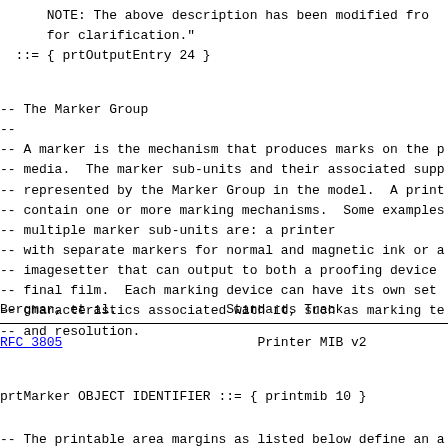NOTE: The above description has been modified fro
      for clarification."
  ::= { prtOutputEntry 24 }
-- The Marker Group
--
-- A marker is the mechanism that produces marks on the p
-- media.  The marker sub-units and their associated supp
-- represented by the Marker Group in the model.  A print
-- contain one or more marking mechanisms.  Some examples
-- multiple marker sub-units are: a printer
-- with separate markers for normal and magnetic ink or a
-- imagesetter that can output to both a proofing device
-- final film.  Each marking device can have its own set
-- characteristics associated with it, such as marking te
-- and resolution.
Bergman, et al.              Standards Track
RFC 3805                         Printer MIB v2
prtMarker OBJECT IDENTIFIER ::= { printmib 10 }
-- The printable area margins as listed below define an a